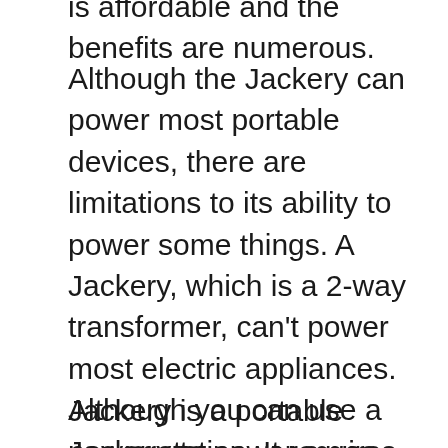is affordable and the benefits are numerous.
Although the Jackery can power most portable devices, there are limitations to its ability to power some things. A Jackery, which is a 2-way transformer, can't power most electric appliances. Although you can use a Jackery to power a gas appliance, most of its capabilities are limited to electrical appliances. You can't run any appliances with a gas outlet, but you can use a portable generator for your mobile phone.
Jackery is a portable power station. It requires an AC source to charge its battery, but the Explorer is great for charging electronics on-the-go. It also has a 12-volt car outlet. This means you can recharge